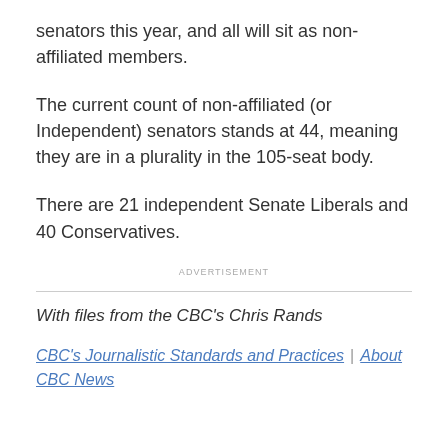senators this year, and all will sit as non-affiliated members.
The current count of non-affiliated (or Independent) senators stands at 44, meaning they are in a plurality in the 105-seat body.
There are 21 independent Senate Liberals and 40 Conservatives.
ADVERTISEMENT
With files from the CBC's Chris Rands
CBC's Journalistic Standards and Practices | About CBC News